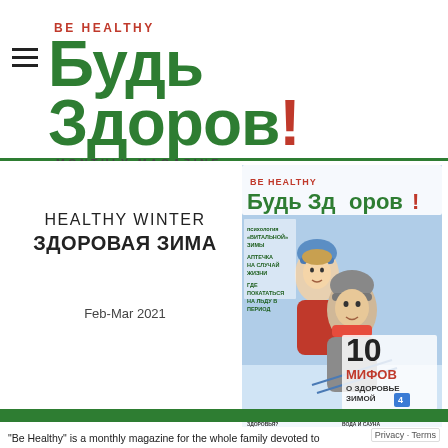BE HEALTHY Будь Здоров! MONTHLY MAGAZINE
[Figure (illustration): Magazine cover of 'Будь Здоров! BE HEALTHY' issue Feb-Mar 2021, Healthy Winter / Здоровая Зима edition. Two people sledding in winter, text '10 мифов о здоровье зимой 4'.]
HEALTHY WINTER ЗДОРОВАЯ ЗИМА
Feb-Mar 2021
Privacy · Terms
"Be Healthy" is a monthly magazine for the whole family devoted to